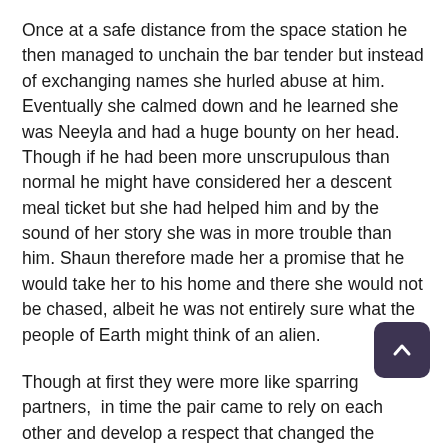Once at a safe distance from the space station he then managed to unchain the bar tender but instead of exchanging names she hurled abuse at him. Eventually she calmed down and he learned she was Neeyla and had a huge bounty on her head. Though if he had been more unscrupulous than normal he might have considered her a descent meal ticket but she had helped him and by the sound of her story she was in more trouble than him. Shaun therefore made her a promise that he would take her to his home and there she would not be chased, albeit he was not entirely sure what the people of Earth might think of an alien.
Though at first they were more like sparring partners,  in time the pair came to rely on each other and develop a respect that changed the animosity to more like sibling rivalry.
Eventually they made it back to Earth but soon found their quite dull after what they had experienced. There were